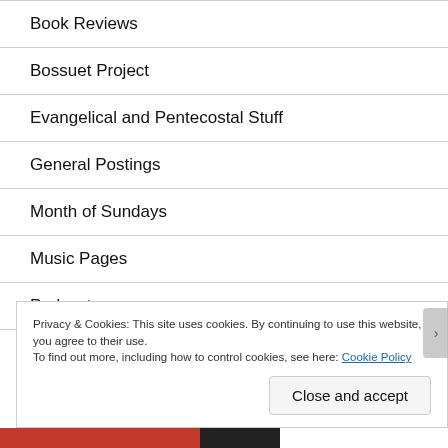Book Reviews
Bossuet Project
Evangelical and Pentecostal Stuff
General Postings
Month of Sundays
Music Pages
Podcast
Privacy & Cookies: This site uses cookies. By continuing to use this website, you agree to their use.
To find out more, including how to control cookies, see here: Cookie Policy